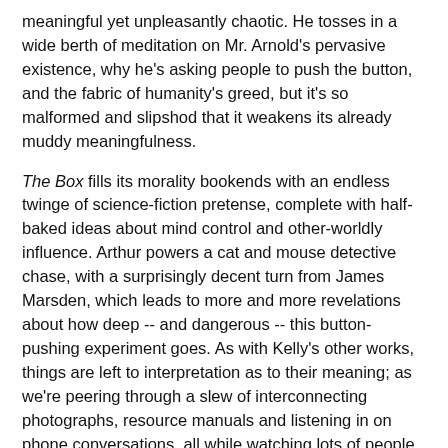meaningful yet unpleasantly chaotic. He tosses in a wide berth of meditation on Mr. Arnold's pervasive existence, why he's asking people to push the button, and the fabric of humanity's greed, but it's so malformed and slipshod that it weakens its already muddy meaningfulness.
The Box fills its morality bookends with an endless twinge of science-fiction pretense, complete with half-baked ideas about mind control and other-worldly influence. Arthur powers a cat and mouse detective chase, with a surprisingly decent turn from James Marsden, which leads to more and more revelations about how deep -- and dangerous -- this button-pushing experiment goes. As with Kelly's other works, things are left to interpretation as to their meaning; as we're peering through a slew of interconnecting photographs, resource manuals and listening in on phone conversations, all while watching lots of people get bloody noses, the picture turns into a thunderstorm of activity that I would've really preferred if it had passed over. That's not a sleight on Kelly's concepts, which are very clever, but more on the erratic, cyclical way in which the film's activity uncontrollably bubbles around them.